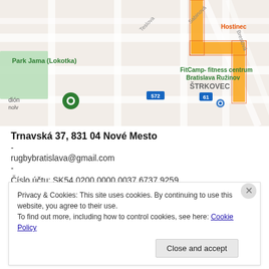[Figure (map): Street map showing Park Jama (Lokotka), FitCamp fitness centrum Bratislava Ružinov, Hostinec, ŠTRKOVEC area, with route highlighted in yellow/gold, bus stop markers (572, 61), and a green location pin.]
Trnavská 37, 831 04 Nové Mesto
-
rugbybratislava@gmail.com
-
Číslo účtu: SK54 0200 0000 0037 6737 9259
BIC: SUBASKBX
Privacy & Cookies: This site uses cookies. By continuing to use this website, you agree to their use.
To find out more, including how to control cookies, see here: Cookie Policy